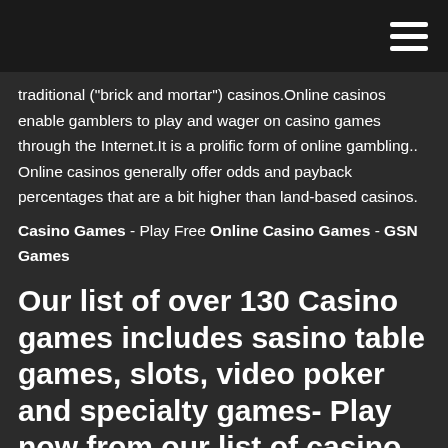traditional ("brick and mortar") casinos.Online casinos enable gamblers to play and wager on casino games through the Internet.It is a prolific form of online gambling.. Online casinos generally offer odds and payback percentages that are a bit higher than land-based casinos.
Casino Games - Play Free Online Casino Games - GSN Games
Our list of over 130 Casino games includes sasino table games, slots, video poker and specialty games- Play now from our list of casino games at Silver